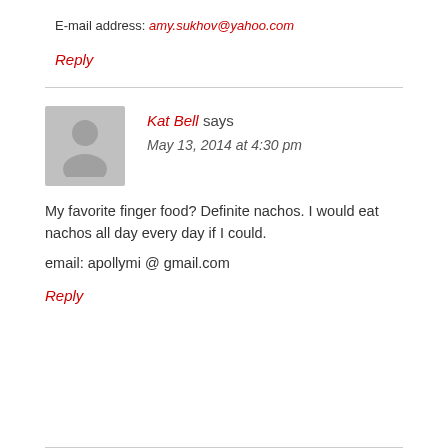E-mail address: amy.sukhov@yahoo.com
Reply
Kat Bell says
May 13, 2014 at 4:30 pm
My favorite finger food? Definite nachos. I would eat nachos all day every day if I could.
email: apollymi @ gmail.com
Reply